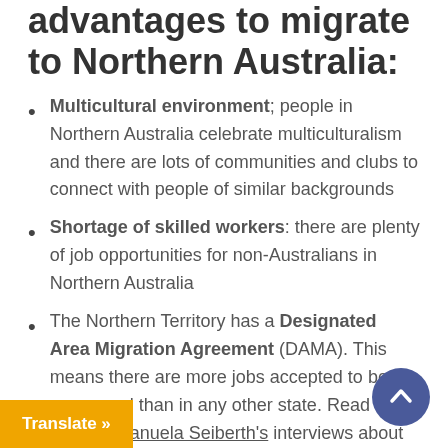advantages to migrate to Northern Australia:
Multicultural environment; people in Northern Australia celebrate multiculturalism and there are lots of communities and clubs to connect with people of similar backgrounds
Shortage of skilled workers: there are plenty of job opportunities for non-Australians in Northern Australia
The Northern Territory has a Designated Area Migration Agreement (DAMA). This means there are more jobs accepted to be sponsored than in any other state. Read our director Manuela Seiberth's interviews about regional migration the DAMA with ABC News here and here, and SBS and watch the ABC News story here.